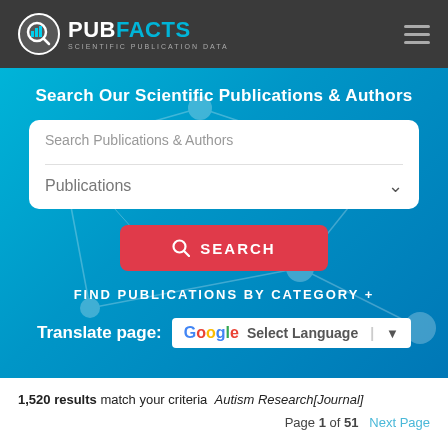[Figure (logo): PubFacts logo with bar chart icon and tagline 'SCIENTIFIC PUBLICATION DATA']
Search Our Scientific Publications & Authors
Search Publications & Authors
Publications
SEARCH
FIND PUBLICATIONS BY CATEGORY +
Translate page: Select Language
1,520 results match your criteria Autism Research[Journal]
Page 1 of 51  Next Page